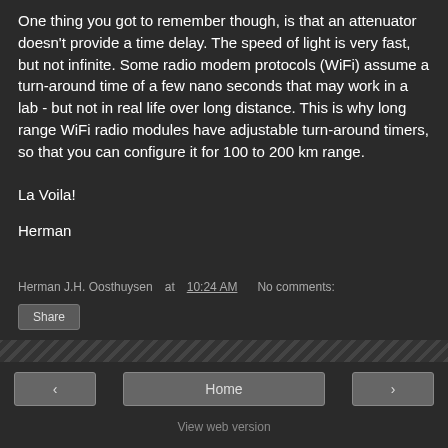One thing you got to remember though, is that an attenuator doesn't provide a time delay. The speed of light is very fast, but not infinite. Some radio modem protocols (WiFi) assume a turn-around time of a few nano seconds that may work in a lab - but not in real life over long distance. This is why long range WiFi radio modules have adjustable turn-around timers, so that you can configure it for 100 to 200 km range.
La Voila!
Herman
Herman J.H. Oosthuysen at 10:24 AM   No comments:
Share
< Home >  View web version